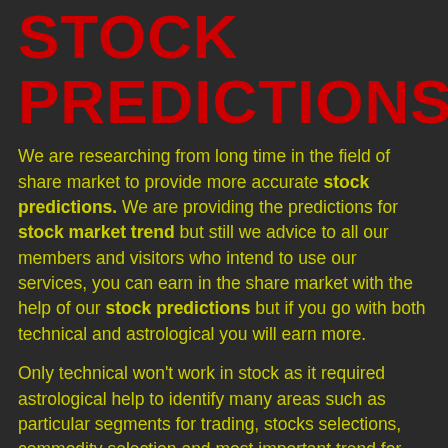STOCK PREDICTIONS
We are researching from long time in the field of share market to provide more accurate stock predictions. We are providing the predictions for stock market trend but still we advice to all our members and visitors who intend to use our services, you can earn in the share market with the help of our stock predictions but if you go with both technical and astrological you will earn more.
Only technical won't work in stock as it required astrological help to identify many areas such as particular segments for trading, stocks selections, commodity selection and most important trend for any market. If you practice technical and astrological both wisely then you will definitely benefit from it.
Share Market research based on astrology